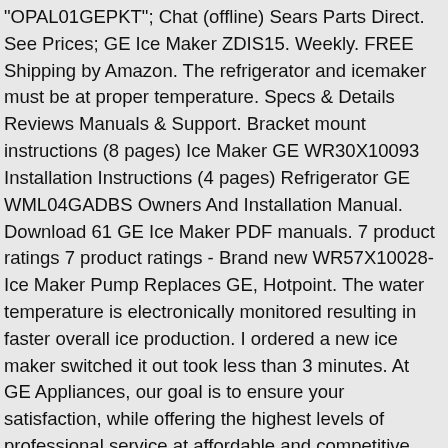"OPAL01GEPKT"; Chat (offline) Sears Parts Direct. See Prices; GE Ice Maker ZDIS15. Weekly. FREE Shipping by Amazon. The refrigerator and icemaker must be at proper temperature. Specs & Details Reviews Manuals & Support. Bracket mount instructions (8 pages) Ice Maker GE WR30X10093 Installation Instructions (4 pages) Refrigerator GE WML04GADBS Owners And Installation Manual. Download 61 GE Ice Maker PDF manuals. 7 product ratings 7 product ratings - Brand new WR57X10028-Ice Maker Pump Replaces GE, Hotpoint. The water temperature is electronically monitored resulting in faster overall ice production. I ordered a new ice maker switched it out took less than 3 minutes. At GE Appliances, our goal is to ensure your satisfaction, while offering the highest levels of professional service at affordable and competitive rates. $139.95 $ 139. GE bottom freezers turn the traditional top freezer upside down. Write a review. All. Schedule Service . Pages: 3. ; 1 of 3 $ 139.25 About this Product About this Product; Specs & Details Specs & Details; Reviews; Related Products & Accessories Related Products; Service & Support